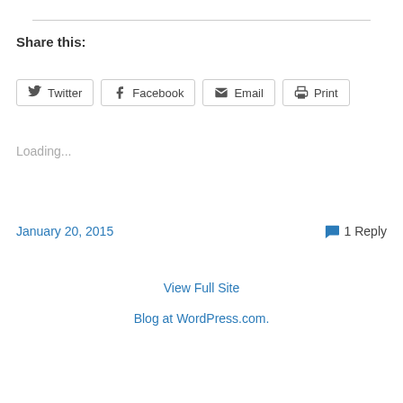Share this:
Twitter | Facebook | Email | Print
Loading...
January 20, 2015
1 Reply
View Full Site
Blog at WordPress.com.